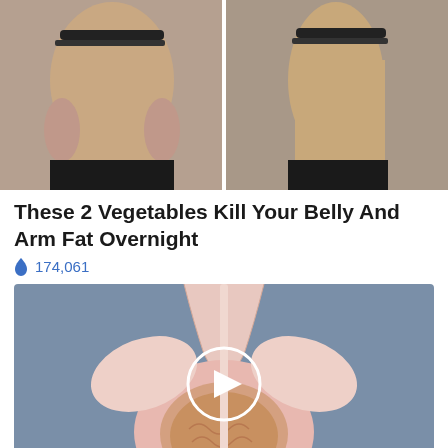[Figure (photo): Before and after weight loss comparison photo showing two views of a woman's back, demonstrating belly and arm fat reduction]
These 2 Vegetables Kill Your Belly And Arm Fat Overnight
174,061
[Figure (illustration): Medical illustration of prostate anatomy with play button overlay, showing a cross-section of the prostate gland and urethra]
Urologist: Plenty Of Men With An Enlarged Prostate Do Not Know About